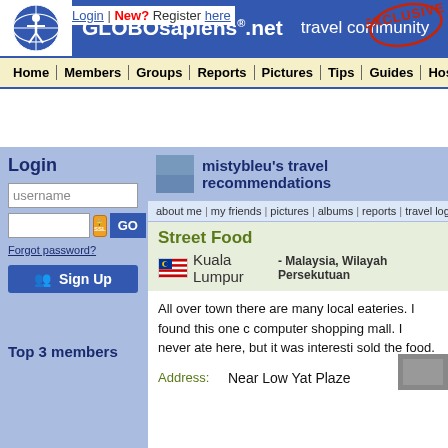GLOBOsapiens.net travel community
Login | New? Register here
[Figure (logo): GLOBOsapiens logo - globe with person figure, blue circle]
[Figure (illustration): EXCLUSIVE red stamp/badge in top right corner]
Home | Members | Groups | Reports | Pictures | Tips | Guides | Hostels
Login
username
Forgot password?
Sign Up
mistybleu's travel recommendations
about me | my friends | pictures | albums | reports | travel log | t
Street Food
Kuala Lumpur - Malaysia, Wilayah Persekutuan
All over town there are many local eateries. I found this one c computer shopping mall. I never ate here, but it was interesti sold the food.
Address: Near Low Yat Plaze
Top 3 members